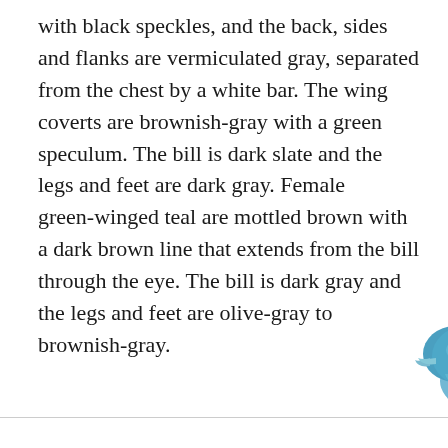with black speckles, and the back, sides and flanks are vermiculated gray, separated from the chest by a white bar. The wing coverts are brownish-gray with a green speculum. The bill is dark slate and the legs and feet are dark gray. Female green-winged teal are mottled brown with a dark brown line that extends from the bill through the eye. The bill is dark gray and the legs and feet are olive-gray to brownish-gray.
[Figure (illustration): Partial illustration of a duck (green-winged teal) in blue/teal coloring with handwritten-style annotations and scribbled labels beside it, shown at the bottom of the page.]